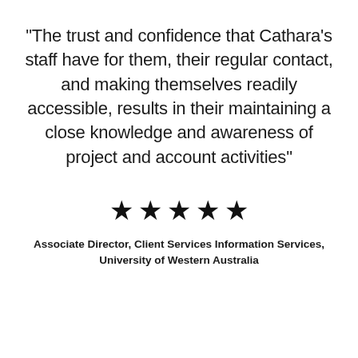“The trust and confidence that Cathara’s staff have for them, their regular contact, and making themselves readily accessible, results in their maintaining a close knowledge and awareness of project and account activities”
[Figure (other): Five black filled star icons in a row representing a 5-star rating]
Associate Director, Client Services Information Services, University of Western Australia